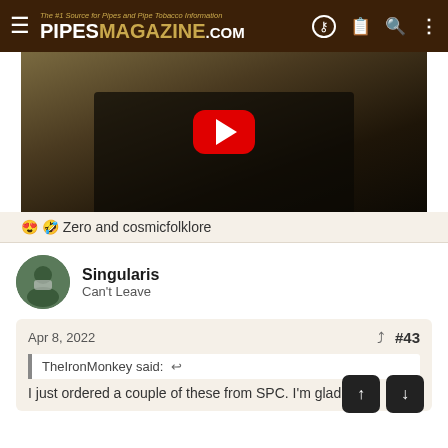The #1 Source for Pipes and Pipe Tobacco Information | PIPESMAGAZINE.COM
[Figure (screenshot): YouTube video thumbnail showing figures in dark clothing outdoors with a red YouTube play button in the center]
😍 🤣 Zero and cosmicfolklore
Singularis
Can't Leave
Apr 8, 2022   #43
TheIronMonkey said: ↩
I just ordered a couple of these from SPC. I'm glad my